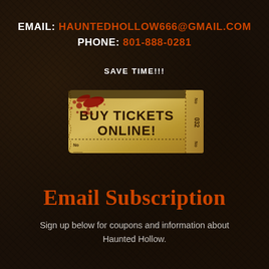EMAIL: HAUNTEDHOLLOW666@GMAIL.COM
PHONE: 801-888-0281
SAVE TIME!!!
[Figure (illustration): A vintage ticket stub graphic with blood splatter, reading BUY TICKETS ONLINE! with ticket number 032]
Email Subscription
Sign up below for coupons and information about Haunted Hollow.